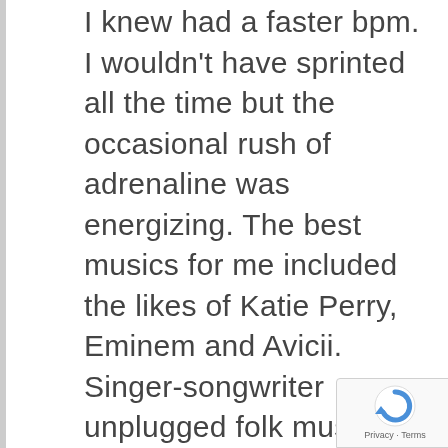I knew had a faster bpm. I wouldn't have sprinted all the time but the occasional rush of adrenaline was energizing. The best musics for me included the likes of Katie Perry, Eminem and Avicii. Singer-songwriter unplugged folk music didn't work as well as I found it too slow for my stroke. Heavy metal was grating and ambient techno was a bit freaky, especially in murky lakes where you don't want to know what could be lurking below. Though I'm thankful be more educated musically, I'll stick hannysongs
[Figure (logo): Google reCAPTCHA badge with blue circular arrow logo and Privacy - Terms text]